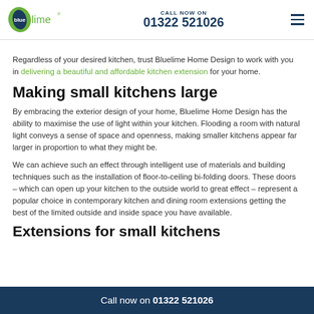blue lime® | CALL NOW ON 01322 521026
Regardless of your desired kitchen, trust Bluelime Home Design to work with you in delivering a beautiful and affordable kitchen extension for your home.
Making small kitchens large
By embracing the exterior design of your home, Bluelime Home Design has the ability to maximise the use of light within your kitchen. Flooding a room with natural light conveys a sense of space and openness, making smaller kitchens appear far larger in proportion to what they might be.
We can achieve such an effect through intelligent use of materials and building techniques such as the installation of floor-to-ceiling bi-folding doors. These doors – which can open up your kitchen to the outside world to great effect – represent a popular choice in contemporary kitchen and dining room extensions getting the best of the limited outside and inside space you have available.
Extensions for small kitchens
Call now on 01322 521026